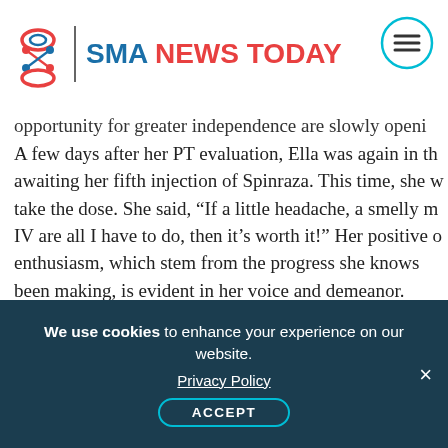SMA NEWS TODAY
opportunity for greater independence are slowly openi
A few days after her PT evaluation, Ella was again in th awaiting her fifth injection of Spinraza. This time, she w take the dose. She said, "If a little headache, a smelly m IV are all I have to do, then it's worth it!" Her positive o enthusiasm, which stem from the progress she knows been making, is evident in her voice and demeanor.
Advertisement
[Figure (other): Advertisement placeholder with DNA/molecule pattern background]
We use cookies to enhance your experience on our website. Privacy Policy ACCEPT